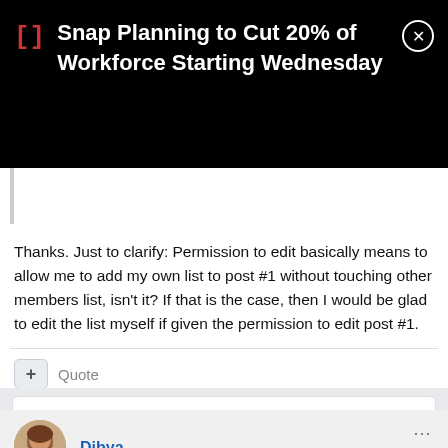Snap Planning to Cut 20% of Workforce Starting Wednesday
Thanks. Just to clarify: Permission to edit basically means to allow me to add my own list to post #1 without touching other members list, isn't it? If that is the case, then I would be glad to edit the list myself if given the permission to edit post #1.
4 years later...
Dibya